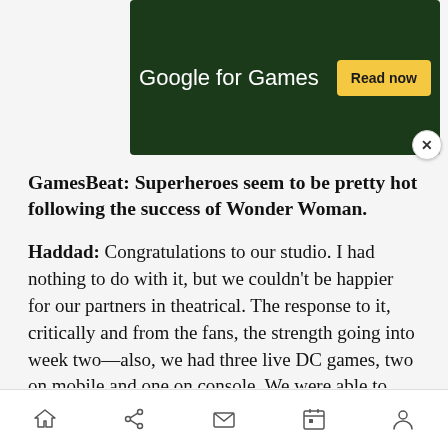[Figure (screenshot): Google for Games advertisement banner with dark green background, white text reading 'Google for Games', yellow 'Read now' button, and a close (X) button]
GamesBeat: Superheroes seem to be pretty hot following the success of Wonder Woman.
Haddad: Congratulations to our studio. I had nothing to do with it, but we couldn't be happier for our partners in theatrical. The response to it, critically and from the fans, the strength going into week two—also, we had three live DC games, two on mobile and one on console. We were able to activate around that. We were able to give Wonder Woman content and DLC for our two mobile games
[Figure (screenshot): Mobile browser bottom navigation bar with home, share, mail, calendar, and user/profile icons]